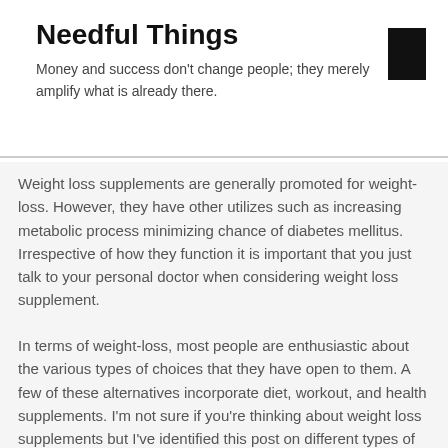Needful Things
Money and success don't change people; they merely amplify what is already there.
Weight loss supplements are generally promoted for weight-loss. However, they have other utilizes such as increasing metabolic process minimizing chance of diabetes mellitus. Irrespective of how they function it is important that you just talk to your personal doctor when considering weight loss supplement.
In terms of weight-loss, most people are enthusiastic about the various types of choices that they have open to them. A few of these alternatives incorporate diet, workout, and health supplements. I'm not sure if you're thinking about weight loss supplements but I've identified this post on different types of dietary...